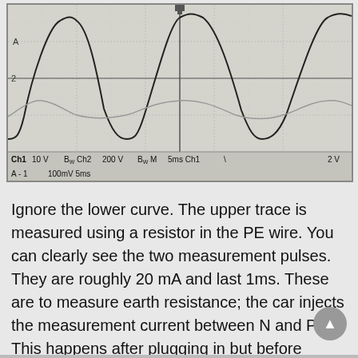[Figure (continuous-plot): Oscilloscope screenshot showing two waveform traces (upper and lower). Upper trace shows two measurement pulses of approximately 20mA, each lasting about 1ms, appearing as rectified sine-like peaks. Lower trace is a smaller sinusoidal waveform. Display settings: Ch1 10V, 100mV, 5ms; Ch2 200V, 5ms; BW M 5ms Ch1; 2V.]
Ignore the lower curve. The upper trace is measured using a resistor in the PE wire. You can clearly see the two measurement pulses. They are roughly 20 mA and last 1ms. These are to measure earth resistance; the car injects the measurement current between N and PE. This happens after plugging in but before charging starts.